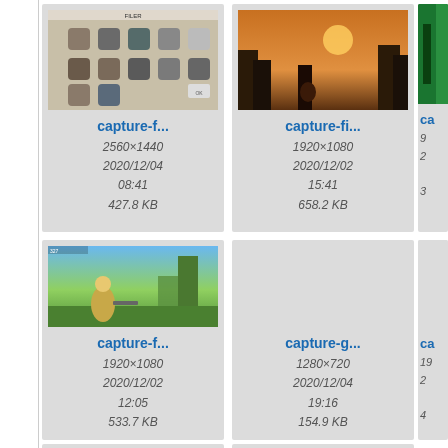[Figure (screenshot): File browser grid view showing image thumbnails with filenames, dimensions, dates, and file sizes. Row 1: capture-f... (2560x1440, 2020/12/04 08:41, 427.8 KB), capture-fi... (1920x1080, 2020/12/02 15:41, 658.2 KB), partial third card. Row 2: capture-f... (1920x1080, 2020/12/02 12:05, 533.7 KB), capture-g... (1280x720, 2020/12/04 19:16, 154.9 KB), partial third card. Row 3: two partial cards at bottom.]